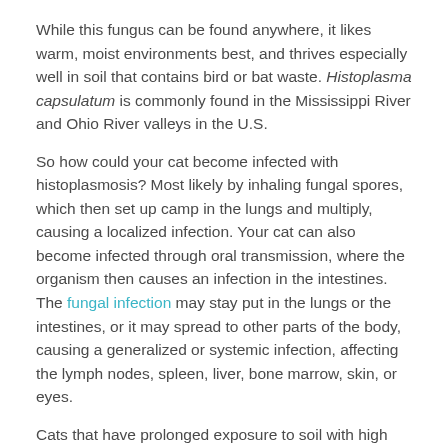While this fungus can be found anywhere, it likes warm, moist environments best, and thrives especially well in soil that contains bird or bat waste. Histoplasma capsulatum is commonly found in the Mississippi River and Ohio River valleys in the U.S.
So how could your cat become infected with histoplasmosis? Most likely by inhaling fungal spores, which then set up camp in the lungs and multiply, causing a localized infection. Your cat can also become infected through oral transmission, where the organism then causes an infection in the intestines. The fungal infection may stay put in the lungs or the intestines, or it may spread to other parts of the body, causing a generalized or systemic infection, affecting the lymph nodes, spleen, liver, bone marrow, skin, or eyes.
Cats that have prolonged exposure to soil with high levels of the fungus are thought to be at greater risk of contracting the disease. Since the organism is found outdoors, in soil, most cats that become infected are those that spend time outside.
Symptoms
The symptoms of histoplasmosis are unpredictable and often nonspecific. They can include: